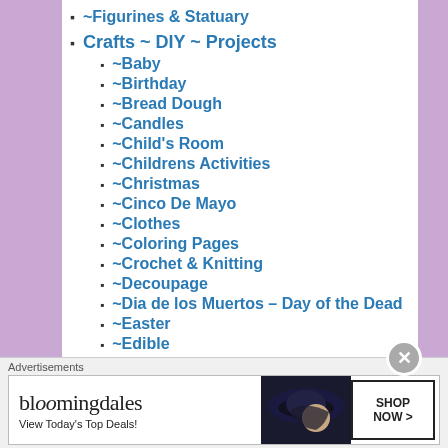~Figurines & Statuary
Crafts ~ DIY ~ Projects
~Baby
~Birthday
~Bread Dough
~Candles
~Child's Room
~Childrens Activities
~Christmas
~Cinco De Mayo
~Clothes
~Coloring Pages
~Crochet & Knitting
~Decoupage
~Dia de los Muertos – Day of the Dead
~Easter
~Edible
Advertisements
[Figure (screenshot): Bloomingdales advertisement banner: logo, 'View Today's Top Deals!', woman with hat, SHOP NOW button]